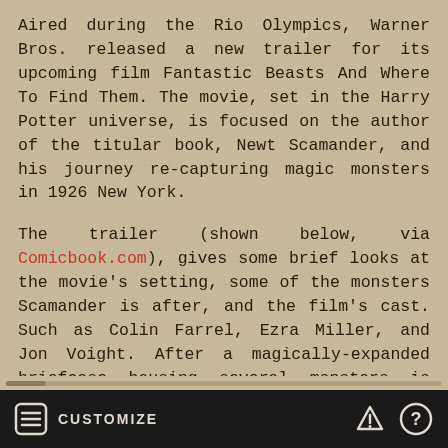Aired during the Rio Olympics, Warner Bros. released a new trailer for its upcoming film Fantastic Beasts And Where To Find Them. The movie, set in the Harry Potter universe, is focused on the author of the titular book, Newt Scamander, and his journey re-capturing magic monsters in 1926 New York.
The trailer (shown below, via Comicbook.com), gives some brief looks at the movie's setting, some of the monsters Scamander is after, and the film's cast. Such as Colin Farrel, Ezra Miller, and Jon Voight. After a magically-expanded briefcase housing several monsters is unleashed on New York, Scamander must go after them, all the while being pursued by the American wizarding authorities.
(Please visit the site to view this media)
CUSTOMIZE